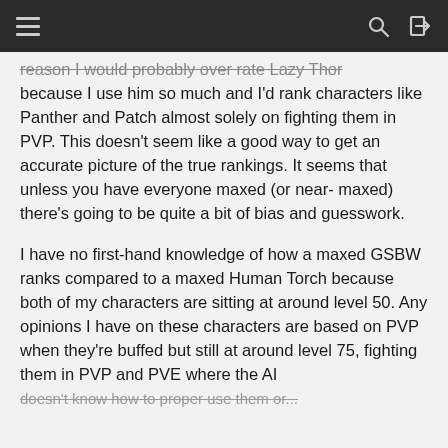Navigation bar with hamburger menu, search icon, and login icon
reason I would probably over rate Lazy Thor because I use him so much and I'd rank characters like Panther and Patch almost solely on fighting them in PVP. This doesn't seem like a good way to get an accurate picture of the true rankings. It seems that unless you have everyone maxed (or near-maxed) there's going to be quite a bit of bias and guesswork.
I have no first-hand knowledge of how a maxed GSBW ranks compared to a maxed Human Torch because both of my characters are sitting at around level 50. Any opinions I have on these characters are based on PVP when they're buffed but still at around level 75, fighting them in PVP and PVE where the AI doesn't know how to proper use them or...